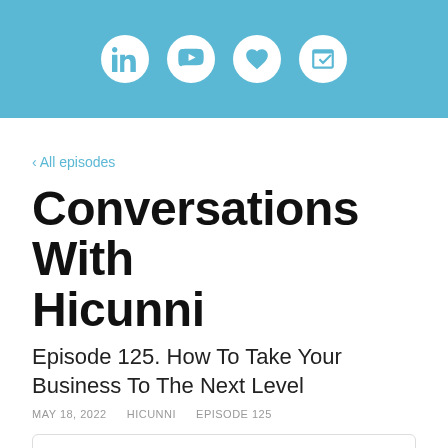[Figure (other): Header bar with four social/platform icon circles: LinkedIn, YouTube, heart/favorites, and a browser/bookmark icon, all on light blue background]
‹ All episodes
Conversations With Hicunni
Episode 125. How To Take Your Business To The Next Level
MAY 18, 2022   HICUNNI   EPISODE 125
[Figure (screenshot): Podcast player embed card showing 'Conversations With Hicunni' label and bold title 'Episode 125. How To' with partial waveform/progress bar at bottom]